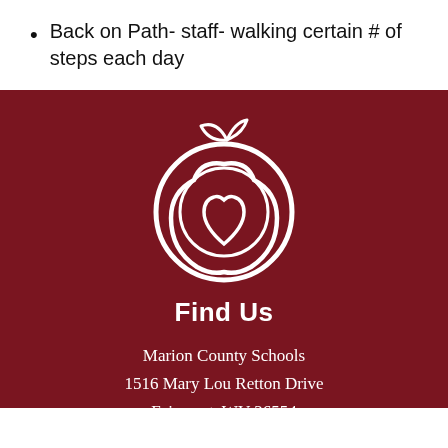Back on Path- staff- walking certain # of steps each day
[Figure (logo): Apple with heart inside, Marion County Schools logo, white outline on dark red background]
Find Us
Marion County Schools
1516 Mary Lou Retton Drive
Fairmont, WV 26554
304-367-2100